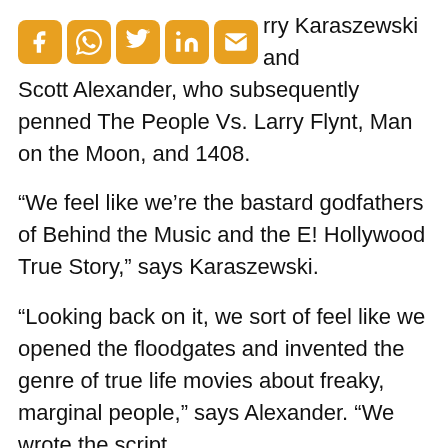[Figure (other): Row of five social media share icons (Facebook, WhatsApp, Twitter, LinkedIn, Email) rendered as orange rounded square buttons with white symbols, followed by inline text beginning with 'rry Karaszewski and']
rry Karaszewski and Scott Alexander, who subsequently penned The People Vs. Larry Flynt, Man on the Moon, and 1408.
“We feel like we’re the bastard godfathers of Behind the Music and the E! Hollywood True Story,” says Karaszewski.
“Looking back on it, we sort of feel like we opened the floodgates and invented the genre of true life movies about freaky, marginal people,” says Alexander. “We wrote the script